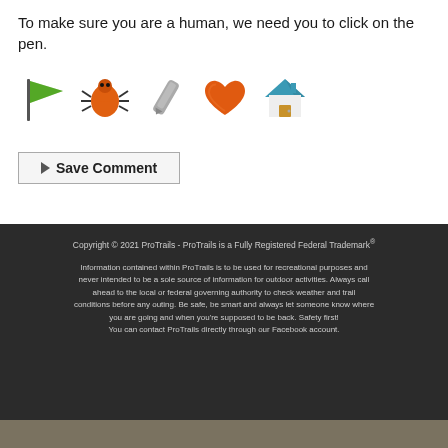To make sure you are a human, we need you to click on the pen.
[Figure (illustration): Row of five emoji icons: green flag, orange bug/spider, pen/pencil, orange heart, house]
▶ Save Comment
Copyright © 2021 ProTrails - ProTrails is a Fully Registered Federal Trademark®
Information contained within ProTrails is to be used for recreational purposes and never intended to be a sole source of information for outdoor activities. Always call ahead to the local or federal governing authority to check weather and trail conditions before any outing. Be safe, be smart and always let someone know where you are going and when you're supposed to be back. Safety first! You can contact ProTrails directly through our Facebook account.